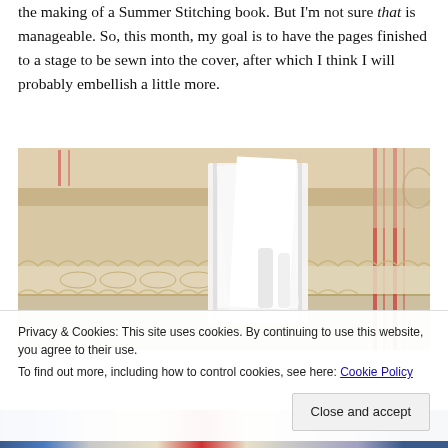the making of a Summer Stitching book. But I'm not sure that is manageable. So, this month, my goal is to have the pages finished to a stage to be sewn into the cover, after which I think I will probably embellish a little more.
[Figure (photo): Photo of burlap/linen fabric pieces with lace trim and red stripe accents, with white paper bag or book pages in the center]
Privacy & Cookies: This site uses cookies. By continuing to use this website, you agree to their use.
To find out more, including how to control cookies, see here: Cookie Policy
Close and accept